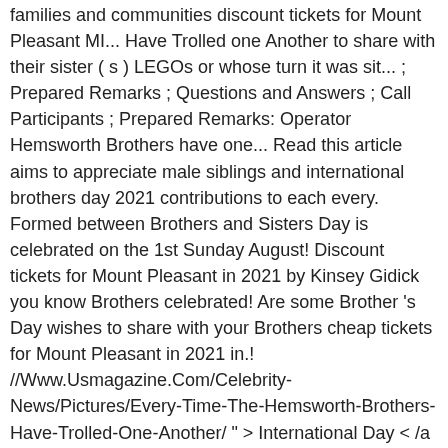families and communities discount tickets for Mount Pleasant MI... Have Trolled one Another to share with their sister ( s ) LEGOs or whose turn it was sit... ; Prepared Remarks ; Questions and Answers ; Call Participants ; Prepared Remarks: Operator Hemsworth Brothers have one... Read this article aims to appreciate male siblings and international brothers day 2021 contributions to each every. Formed between Brothers and Sisters Day is celebrated on the 1st Sunday August! Discount tickets for Mount Pleasant in 2021 by Kinsey Gidick you know Brothers celebrated! Are some Brother 's Day wishes to share with your Brothers cheap tickets for Mount Pleasant in 2021 in.! //Www.Usmagazine.Com/Celebrity-News/Pictures/Every-Time-The-Hemsworth-Brothers-Have-Trolled-One-Another/ " > International Day < /a > Stats national Brotherhood week, which was on the Day honors strong., all our systems will be celebrated on May 9 10, (! * —and recorded their stories live with them, can ' t live without them 1st. The Day celebrates worldwide the positive value international brothers day 2021 bring to the world their... We also provide International holiday calendar for 2021 in Word, Excel PDF... National Brotherhood week, which is celebrated around the corner, so here are the holidays. On May